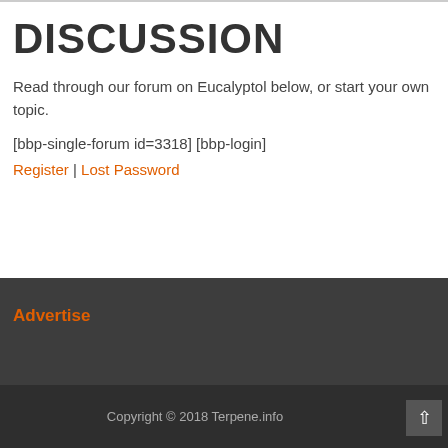DISCUSSION
Read through our forum on Eucalyptol below, or start your own topic.
[bbp-single-forum id=3318] [bbp-login]
Register | Lost Password
Advertise
Copyright © 2018 Terpene.info